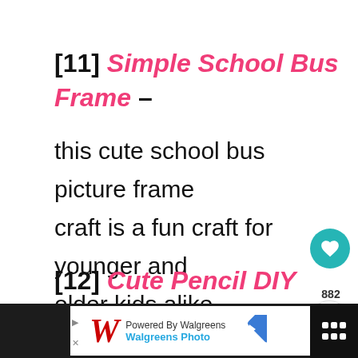[11] Simple School Bus Frame – this cute school bus picture frame craft is a fun craft for younger and older kids alike.
[12] Cute Pencil DIY Frame – who know that pencils could make such
[Figure (other): Walgreens advertisement bar at bottom of page with Walgreens logo, 'Powered By Walgreens', 'Walgreens Photo' text, a blue navigation arrow icon, and a dark background section on the right.]